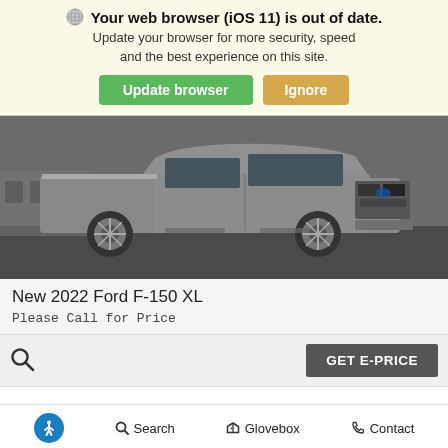Your web browser (iOS 11) is out of date. Update your browser for more security, speed and the best experience on this site.
Update browser  Ignore
[Figure (photo): Photo of a gray 2022 Ford F-150 XL pickup truck parked in a lot, side/front angle view.]
New 2022 Ford F-150 XL
Please Call for Price
GET E-PRICE
Accessibility icon  Search  Glovebox  Contact